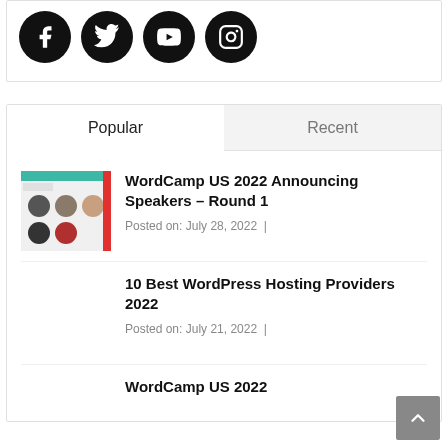[Figure (illustration): Social media icon buttons: Facebook, Twitter, YouTube, Instagram — black circles with white icons]
Popular
Recent
[Figure (screenshot): Thumbnail image showing WordCamp US 2022 speakers page with circular profile photos]
WordCamp US 2022 Announcing Speakers – Round 1
Posted on: July 28, 2022  |
10 Best WordPress Hosting Providers 2022
Posted on: July 21, 2022  |
WordCamp US 2022